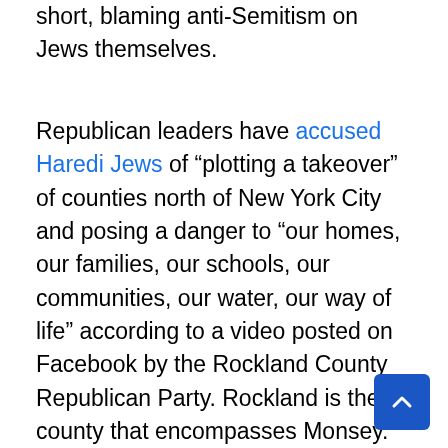short, blaming anti-Semitism on Jews themselves.
Republican leaders have accused Haredi Jews of “plotting a takeover” of counties north of New York City and posing a danger to “our homes, our families, our schools, our communities, our water, our way of life” according to a video posted on Facebook by the Rockland County Republican Party. Rockland is the county that encompasses Monsey.
And across the Hudson River, Jersey City councilwoman Joan Terrell Page reacted to the horrific attacks that claimed the lives of four people (one that authorities believe was ultimately targeting an Orthodox school attached to the market) by writing on Facebook